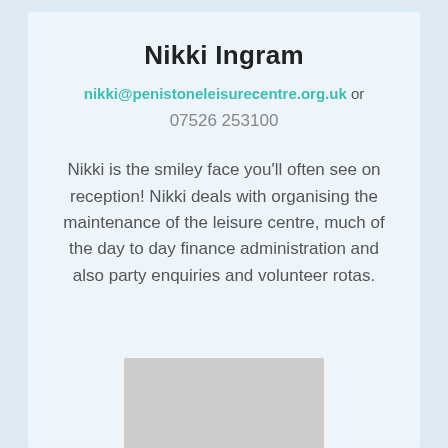Nikki Ingram
nikki@penistoneleisurecentre.org.uk or 07526 253100
Nikki is the smiley face you’ll often see on reception! Nikki deals with organising the maintenance of the leisure centre, much of the day to day finance administration and also party enquiries and volunteer rotas.
[Figure (photo): Placeholder image area at the bottom of the card]